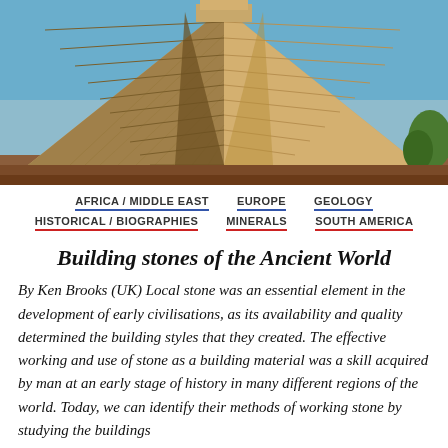[Figure (photo): Photograph of a Mesoamerican step pyramid (El Castillo / Chichen Itza) against a blue sky, with golden-brown stone steps rising steeply to a flat top, flanked by steep stairways on either side.]
AFRICA / MIDDLE EAST   EUROPE   GEOLOGY
HISTORICAL / BIOGRAPHIES   MINERALS   SOUTH AMERICA
Building stones of the Ancient World
By Ken Brooks (UK) Local stone was an essential element in the development of early civilisations, as its availability and quality determined the building styles that they created. The effective working and use of stone as a building material was a skill acquired by man at an early stage of history in many different regions of the world. Today, we can identify their methods of working stone by studying the buildings